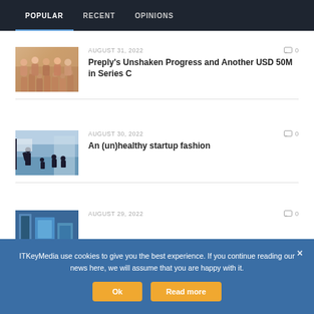POPULAR   RECENT   OPINIONS
[Figure (photo): Group photo of people standing together]
AUGUST 31, 2022   0
Preply's Unshaken Progress and Another USD 50M in Series C
[Figure (photo): Business meeting silhouettes in office]
AUGUST 30, 2022   0
An (un)healthy startup fashion
[Figure (photo): Partially visible image - third article]
AUGUST 29, 2022   0
ITKeyMedia use cookies to give you the best experience. If you continue reading our news here, we will assume that you are happy with it.